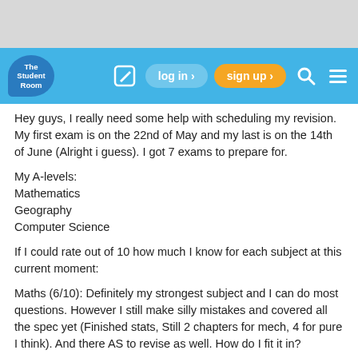[Figure (screenshot): Top gray background area]
The Student Room — navigation bar with log in and sign up buttons
Hey guys, I really need some help with scheduling my revision. My first exam is on the 22nd of May and my last is on the 14th of June (Alright i guess). I got 7 exams to prepare for.
My A-levels:
Mathematics
Geography
Computer Science
If I could rate out of 10 how much I know for each subject at this current moment:
Maths (6/10): Definitely my strongest subject and I can do most questions. However I still make silly mistakes and covered all the spec yet (Finished stats, Still 2 chapters for mech, 4 for pure I think). And there AS to revise as well. How do I fit it in?